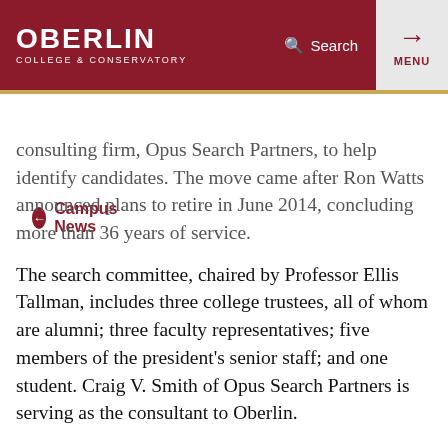OBERLIN COLLEGE & CONSERVATORY | Search | MENU
← Campus News
consulting firm, Opus Search Partners, to help identify candidates. The move came after Ron Watts announced plans to retire in June 2014, concluding more than 36 years of service.
The search committee, chaired by Professor Ellis Tallman, includes three college trustees, all of whom are alumni; three faculty representatives; five members of the president's senior staff; and one student. Craig V. Smith of Opus Search Partners is serving as the consultant to Oberlin.
A position description has been developed with input from trustees, staff, alumni, and students.